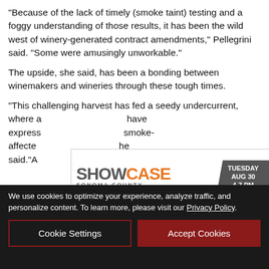“Because of the lack of timely (smoke taint) testing and a foggy understanding of those results, it has been the wild west of winery-generated contract amendments,” Pellegrini said. “Some were amusingly unworkable.”
The upside, she said, has been a bonding between winemakers and wineries through these tough times.
“This challenging harvest has fed a seedy undercurrent, where a… have express… smoke-affecte… he said.”A… from
[Figure (advertisement): Showcase Sonoma County ad. TUESDAY AUG 30 4-7 PM. Local business expo! Free and open to the public! Santa Rosa Metro Chamber • Luther Burbank Center for the Arts]
We use cookies to optimize your experience, analyze traffic, and personalize content. To learn more, please visit our Privacy Policy.
Cookie Settings | Accept Cookies